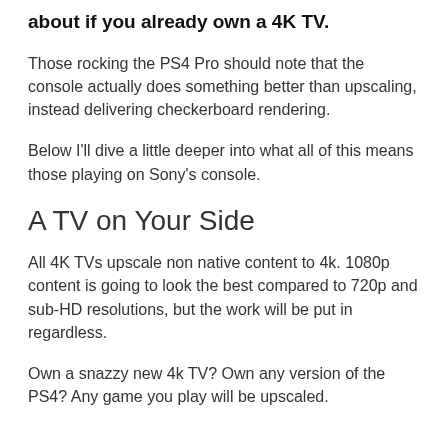about if you already own a 4K TV.
Those rocking the PS4 Pro should note that the console actually does something better than upscaling, instead delivering checkerboard rendering.
Below I'll dive a little deeper into what all of this means those playing on Sony's console.
A TV on Your Side
All 4K TVs upscale non native content to 4k. 1080p content is going to look the best compared to 720p and sub-HD resolutions, but the work will be put in regardless.
Own a snazzy new 4k TV? Own any version of the PS4? Any game you play will be upscaled.